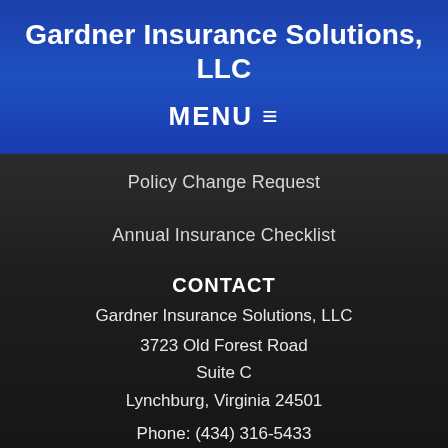Gardner Insurance Solutions, LLC
MENU ≡
Policy Change Request
Annual Insurance Checklist
CONTACT
Gardner Insurance Solutions, LLC
3723 Old Forest Road
Suite C
Lynchburg, Virginia 24501
Phone: (434) 316-5433